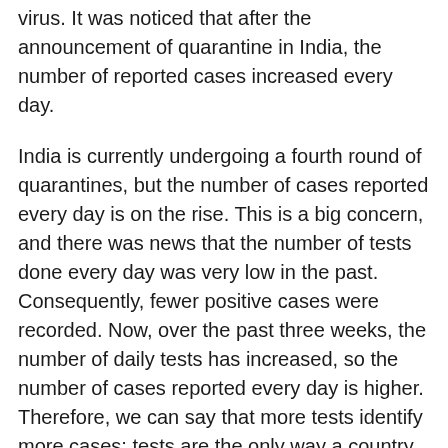virus. It was noticed that after the announcement of quarantine in India, the number of reported cases increased every day.
India is currently undergoing a fourth round of quarantines, but the number of cases reported every day is on the rise. This is a big concern, and there was news that the number of tests done every day was very low in the past. Consequently, fewer positive cases were recorded. Now, over the past three weeks, the number of daily tests has increased, so the number of cases reported every day is higher. Therefore, we can say that more tests identify more cases; tests are the only way a country can understand its real position in this pandemic situation.
Between blockages, liquor stores opened for two to three days, and a huge number of people went